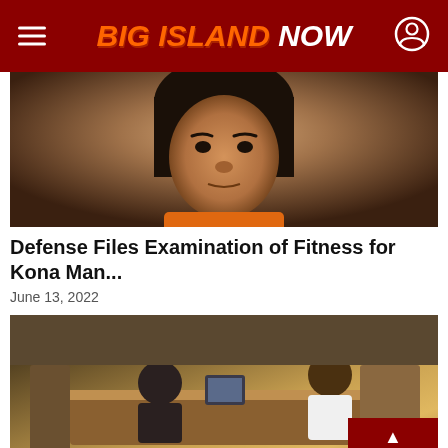Big Island Now
[Figure (photo): Mugshot of a young man with dark hair wearing an orange jumpsuit]
Defense Files Examination of Fitness for Kona Man...
June 13, 2022
[Figure (photo): Courtroom scene with a figure in white shirt seated at defense table and attorneys present]
Judge Grants Request for Examination of F...